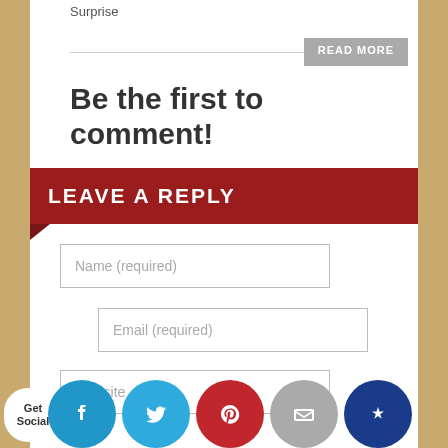Surprise
READ MORE
Be the first to comment!
LEAVE A REPLY
Name (required)
Email (required)
Website
Get Social